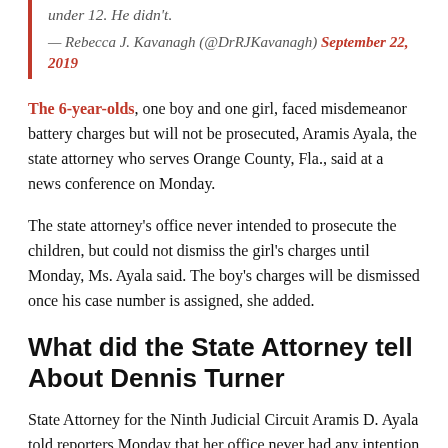under 12. He didn't.
— Rebecca J. Kavanagh (@DrRJKavanagh) September 22, 2019
The 6-year-olds, one boy and one girl, faced misdemeanor battery charges but will not be prosecuted, Aramis Ayala, the state attorney who serves Orange County, Fla., said at a news conference on Monday.
The state attorney's office never intended to prosecute the children, but could not dismiss the girl's charges until Monday, Ms. Ayala said. The boy's charges will be dismissed once his case number is assigned, she added.
What did the State Attorney tell About Dennis Turner
State Attorney for the Ninth Judicial Circuit Aramis D. Ayala told reporters Monday that her office never had any intention of